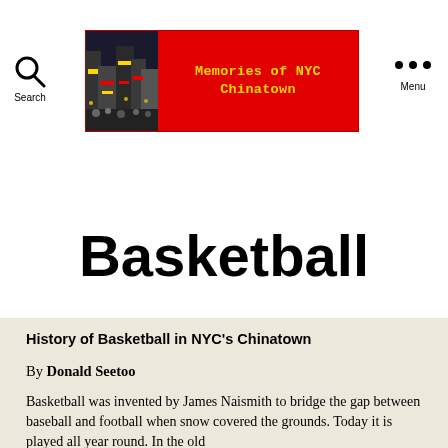Memories of NYC Chinatown — Search / Menu navigation header
Basketball
History of Basketball in NYC's Chinatown
By Donald Seetoo
Basketball was invented by James Naismith to bridge the gap between baseball and football when snow covered the grounds. Today it is played all year round. In the old